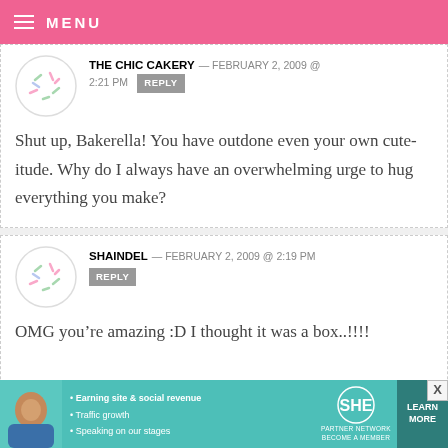MENU
THE CHIC CAKERY — FEBRUARY 2, 2009 @ 2:21 PM REPLY
Shut up, Bakerella! You have outdone even your own cute-itude. Why do I always have an overwhelming urge to hug everything you make?
SHAINDEL — FEBRUARY 2, 2009 @ 2:19 PM REPLY
OMG you’re amazing :D I thought it was a box..!!!!
[Figure (infographic): SHE Partner Network advertisement banner with photo of a woman, bullet points: Earning site & social revenue, Traffic growth, Speaking on our stages. Includes SHE logo and LEARN MORE button.]